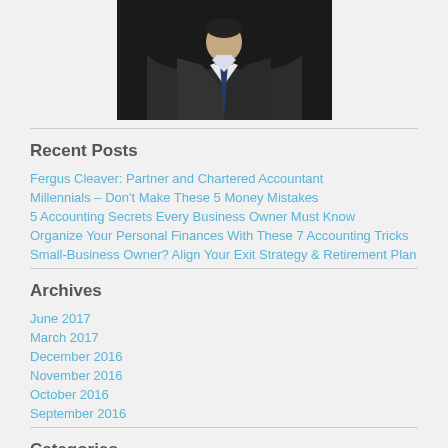[Figure (photo): Photo of a man in a dark suit and blue tie, cropped to show torso/neck area]
Recent Posts
Fergus Cleaver: Partner and Chartered Accountant
Millennials – Don't Make These 5 Money Mistakes
5 Accounting Secrets Every Business Owner Must Know
Organize Your Personal Finances With These 7 Accounting Tricks
Small-Business Owner? Align Your Exit Strategy & Retirement Plan
Archives
June 2017
March 2017
December 2016
November 2016
October 2016
September 2016
Categories